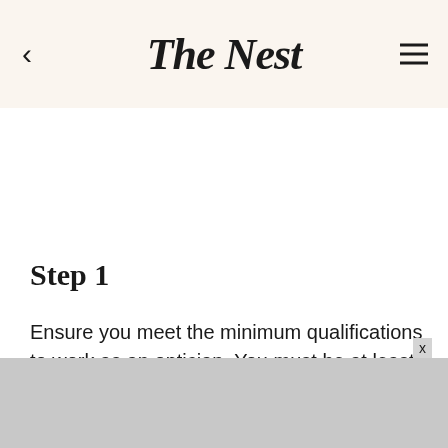The Nest
Step 1
Ensure you meet the minimum qualifications to work as an optician. You must be at least 18 years of age with a high school diploma or GED.